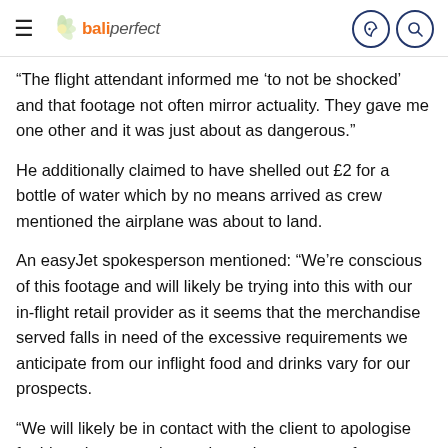baliperfect
“The flight attendant informed me ‘to not be shocked’ and that footage not often mirror actuality. They gave me one other and it was just about as dangerous.”
He additionally claimed to have shelled out £2 for a bottle of water which by no means arrived as crew mentioned the airplane was about to land.
An easyJet spokesperson mentioned: “We’re conscious of this footage and will likely be trying into this with our in-flight retail provider as it seems that the merchandise served falls in need of the excessive requirements we anticipate from our inflight food and drinks vary for our prospects.
“We will likely be in contact with the client to apologise for his or her expertise and supply a gesture of